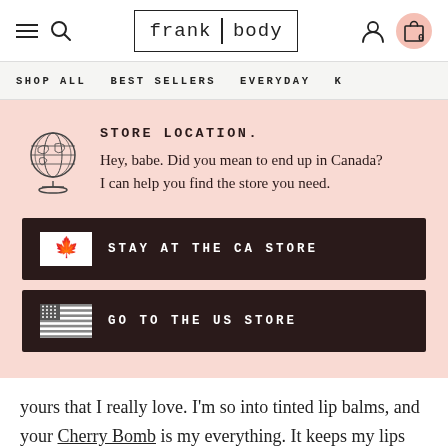frank body — navigation header with hamburger, search, logo, user, cart icons
SHOP ALL   BEST SELLERS   EVERYDAY   K
STORE LOCATION.
Hey, babe. Did you mean to end up in Canada? I can help you find the store you need.
STAY AT THE CA STORE
GO TO THE US STORE
yours that I really love. I'm so into tinted lip balms, and your Cherry Bomb is my everything. It keeps my lips smooth and hydrated, but